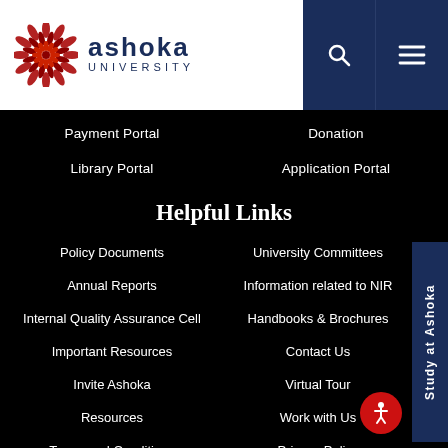[Figure (logo): Ashoka University logo with red circular mandala and navy blue text reading ASHOKA UNIVERSITY]
Payment Portal
Donation
Library Portal
Application Portal
Helpful Links
Policy Documents
University Committees
Annual Reports
Information related to NIR
Internal Quality Assurance Cell
Handbooks & Brochures
Important Resources
Contact Us
Invite Ashoka
Virtual Tour
Resources
Work with Us
Terms and Conditions
Privacy Policy